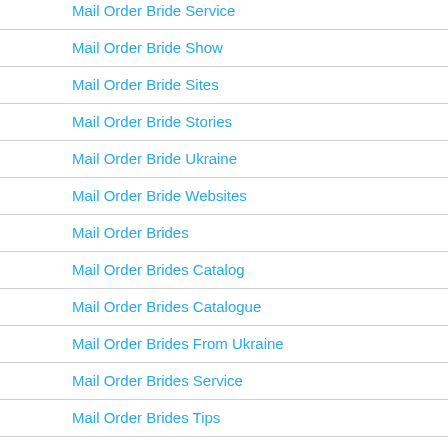Mail Order Bride Service
Mail Order Bride Show
Mail Order Bride Sites
Mail Order Bride Stories
Mail Order Bride Ukraine
Mail Order Bride Websites
Mail Order Brides
Mail Order Brides Catalog
Mail Order Brides Catalogue
Mail Order Brides From Ukraine
Mail Order Brides Service
Mail Order Brides Tips
Mail Order Brides Ukraine